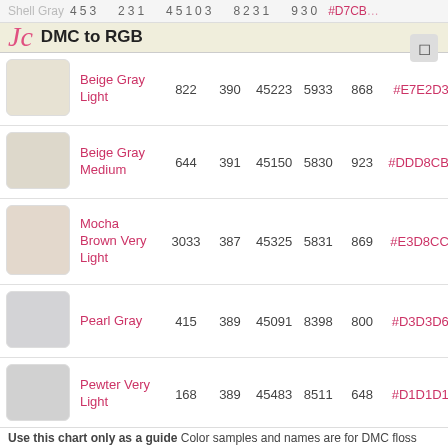DMC to RGB
| Swatch | Name | DMC | Col | Num1 | Num2 | Num3 | Hex |
| --- | --- | --- | --- | --- | --- | --- | --- |
|  | Beige Gray Light | 822 | 390 | 45223 | 5933 | 868 | #E7E2D3 |
|  | Beige Gray Medium | 644 | 391 | 45150 | 5830 | 923 | #DDD8CB |
|  | Mocha Brown Very Light | 3033 | 387 | 45325 | 5831 | 869 | #E3D8CC |
|  | Pearl Gray | 415 | 389 | 45091 | 8398 | 800 | #D3D3D6 |
|  | Pewter Very Light | 168 | 389 | 45483 | 8511 | 648 | #D1D1D1 |
|  | Tin | 02 | 389 | 45091 | 8398 | 800 | #D7D7D8 |
|  | Driftwood Light | 05 | 852 | 45330 | 2300 | 872 | #E3CCBE |
|  | Driftwood Medium Light | 06 | 831 | 45146 | 5387 | 923 | #DCC6B8 |
Use this chart only as a guide. Color samples and names are for DMC floss